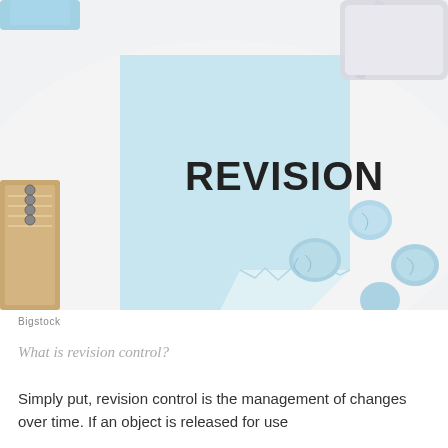[Figure (photo): Photo of a light blue sticky note with the word REVISION written in black marker, placed on a white desk surface with crumpled blue paper balls and a pen visible in the background. Watermark: Bigstock.]
Bigstock
What is revision control?
Simply put, revision control is the management of changes over time. If an object is released for use